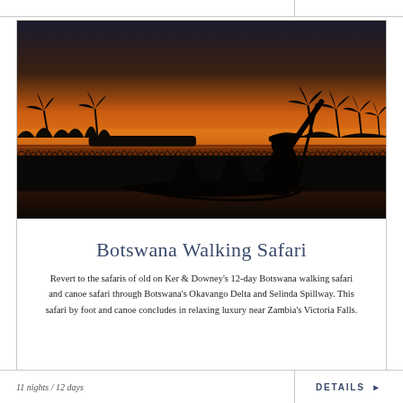[Figure (photo): Silhouette of a person standing and poling a mokoro (dugout canoe) at sunset on the Okavango Delta, Botswana, with two passengers seated, golden-orange sky reflecting on still water, papyrus reeds and palm trees in background]
Botswana Walking Safari
Revert to the safaris of old on Ker & Downey's 12-day Botswana walking safari and canoe safari through Botswana's Okavango Delta and Selinda Spillway. This safari by foot and canoe concludes in relaxing luxury near Zambia's Victoria Falls.
11 nights / 12 days
DETAILS ▶